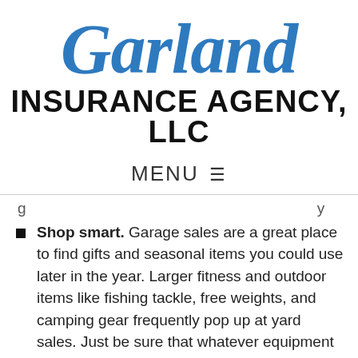[Figure (logo): Garland Insurance Agency, LLC logo with 'Garland' in large italic blue serif font and 'INSURANCE AGENCY, LLC' in bold black sans-serif below]
MENU ☰
g...y
Shop smart. Garage sales are a great place to find gifts and seasonal items you could use later in the year. Larger fitness and outdoor items like fishing tackle, free weights, and camping gear frequently pop up at yard sales. Just be sure that whatever equipment you buy is both safe and functional. Related: Must-Read Storage